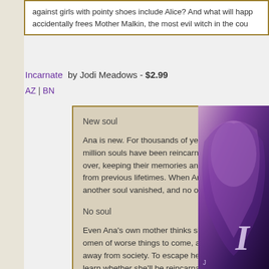against girls with pointy shoes include Alice? And what will happ... accidentally frees Mother Malkin, the most evil witch in the cou...
Incarnate by Jodi Meadows - $2.99
AZ | BN
New soul

Ana is new. For thousands of years in Range, a million souls have been reincarnated over and over, keeping their memories and experiences from previous lifetimes. When Ana was born, another soul vanished, and no one knows why.

No soul

Even Ana's own mother thinks she's a nosoul, an omen of worse things to come, and has kept her away from society. To escape her seclusion and learn whether she'll be reincarnated, Ana travels to the city of Heart, but its citizens are afraid of what her
[Figure (illustration): Book cover of Incarnate showing a stylized woman with flowing hair against a purple/blue background, with large stylized letter I visible]